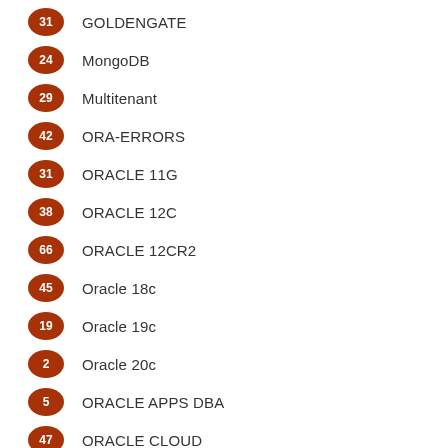31 GOLDENGATE
24 MongoDB
29 Multitenant
42 ORA-ERRORS
31 ORACLE 11G
38 ORACLE 12C
66 ORACLE 12CR2
45 Oracle 18c
19 Oracle 19c
2 Oracle 20c
5 ORACLE APPS DBA
47 ORACLE CLOUD
129 ORACLE DATABASE
38 ORACLE DBAAS
1 ORACLE HCM CLOUD